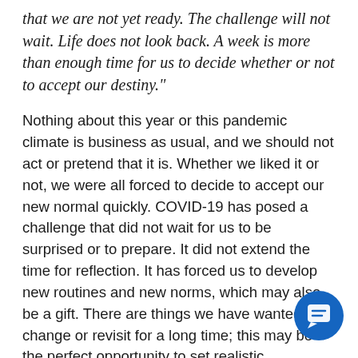that we are not yet ready. The challenge will not wait. Life does not look back. A week is more than enough time for us to decide whether or not to accept our destiny."
Nothing about this year or this pandemic climate is business as usual, and we should not act or pretend that it is. Whether we liked it or not, we were all forced to decide to accept our new normal quickly. COVID-19 has posed a challenge that did not wait for us to be surprised or to prepare. It did not extend the time for reflection. It has forced us to develop new routines and new norms, which may also be a gift. There are things we have wanted to change or revisit for a long time; this may be the perfect opportunity to set realistic expectations, redefine district HR protocols, and reestablish norms or morés. While employees are expecting change, take advantage this juncture to reset your department's course and effective...